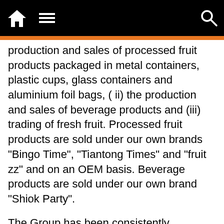[Navigation bar with home, menu, and search icons]
production and sales of processed fruit products packaged in metal containers, plastic cups, glass containers and aluminium foil bags, ( ii) the production and sales of beverage products and (iii) trading of fresh fruit. Processed fruit products are sold under our own brands "Bingo Time", "Tiantong Times" and "fruit zz" and on an OEM basis. Beverage products are sold under our own brand "Shiok Party".
The Group has been consistently committed to provide healthy and safe products to its customers. As one of the food enterprises with the most complete quality certifications, we have been continuously dedicated to adhering to stringent international production standards and are accredited with BRC (A), IFS Food (High), FDA(FSMA), HALAL, SC, KOSHER, BSCI and ISO22000, etc. in respect of our production facilities